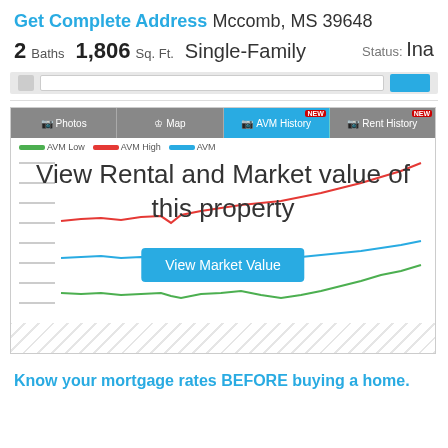Get Complete Address Mccomb, MS 39648
2 Baths  1,806 Sq. Ft.  Single-Family  Status: Ina
[Figure (screenshot): Property listing page screenshot showing navigation bar with Photos, Map, AVM History (active, NEW), and Rent History (NEW) tabs, followed by a line chart with AVM Low (green), AVM High (red), and AVM (blue) lines. An overlay reads 'View Rental and Market value of this property' with a 'View Market Value' button. Y-axis shows gray tick marks. Bottom shows a hatched area.]
Know your mortgage rates BEFORE buying a home.